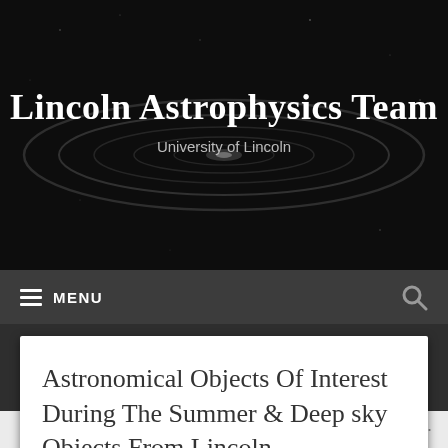Lincoln Astrophysics Team
University of Lincoln
[Figure (screenshot): Website navigation bar with hamburger menu icon and MENU label on the left, search icon on the right, dark grey background]
Astronomical Objects Of Interest During The Summer & Deep sky Objects From Lincoln
Follow ...